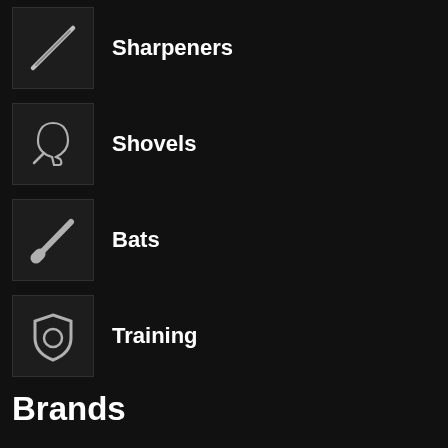Sharpeners
Shovels
Bats
Training
Brands
CRKT
Cold Steel
Smith & Wesson
Artisan Cutlery